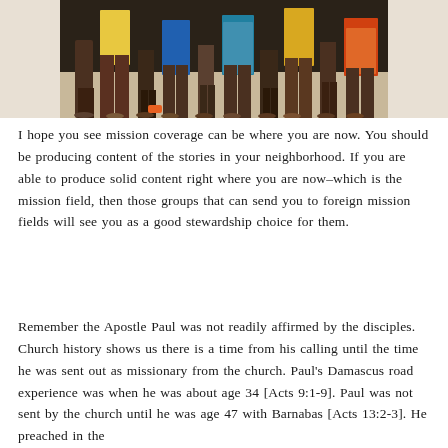[Figure (photo): Photo showing the lower legs and feet of a group of people standing together, some wearing colorful clothing, on what appears to be a wooden or concrete floor. Only legs from approximately the knee down are visible.]
I hope you see mission coverage can be where you are now. You should be producing content of the stories in your neighborhood. If you are able to produce solid content right where you are now–which is the mission field, then those groups that can send you to foreign mission fields will see you as a good stewardship choice for them.
Remember the Apostle Paul was not readily affirmed by the disciples. Church history shows us there is a time from his calling until the time he was sent out as missionary from the church. Paul's Damascus road experience was when he was about age 34 [Acts 9:1-9]. Paul was not sent by the church until he was age 47 with Barnabas [Acts 13:2-3]. He preached in the